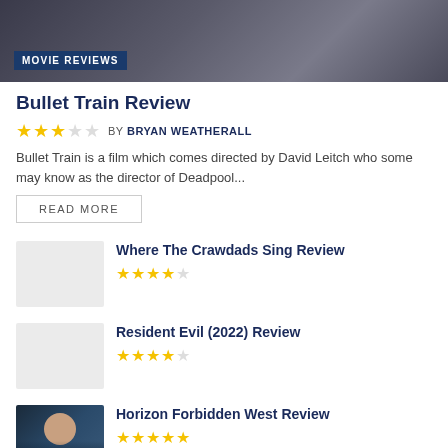[Figure (photo): Hero banner image of a dark cinematic scene with a person]
MOVIE REVIEWS
Bullet Train Review
★★★☆☆ BY BRYAN WEATHERALL
Bullet Train is a film which comes directed by David Leitch who some may know as the director of Deadpool...
READ MORE
Where The Crawdads Sing Review ★★★★☆
Resident Evil (2022) Review ★★★★☆
Horizon Forbidden West Review ★★★★★